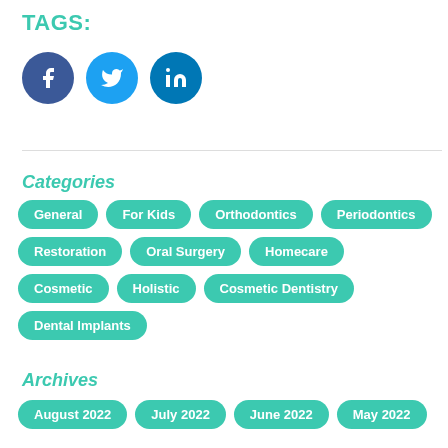TAGS:
[Figure (illustration): Three social media icon circles: Facebook (dark blue), Twitter (light blue), LinkedIn (medium blue)]
Categories
General
For Kids
Orthodontics
Periodontics
Restoration
Oral Surgery
Homecare
Cosmetic
Holistic
Cosmetic Dentistry
Dental Implants
Archives
August 2022
July 2022
June 2022
May 2022